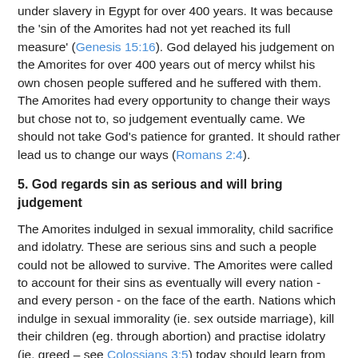under slavery in Egypt for over 400 years. It was because the 'sin of the Amorites had not yet reached its full measure' (Genesis 15:16). God delayed his judgement on the Amorites for over 400 years out of mercy whilst his own chosen people suffered and he suffered with them. The Amorites had every opportunity to change their ways but chose not to, so judgement eventually came. We should not take God's patience for granted. It should rather lead us to change our ways (Romans 2:4).
5. God regards sin as serious and will bring judgement
The Amorites indulged in sexual immorality, child sacrifice and idolatry. These are serious sins and such a people could not be allowed to survive. The Amorites were called to account for their sins as eventually will every nation - and every person - on the face of the earth. Nations which indulge in sexual immorality (ie. sex outside marriage), kill their children (eg. through abortion) and practise idolatry (ie. greed – see Colossians 3:5) today should learn from the fate of the Amorites.
6. God delivers on his promises